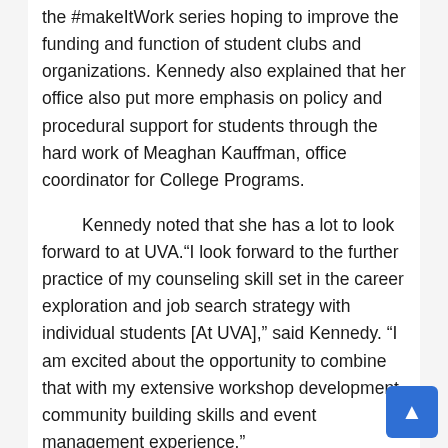the #makeItWork series hoping to improve the funding and function of student clubs and organizations. Kennedy also explained that her office also put more emphasis on policy and procedural support for students through the hard work of Meaghan Kauffman, office coordinator for College Programs.
Kennedy noted that she has a lot to look forward to at UVA.“I look forward to the further practice of my counseling skill set in the career exploration and job search strategy with individual students [At UVA],” said Kennedy. “I am excited about the opportunity to combine that with my extensive workshop development, community building skills and event management experience.”